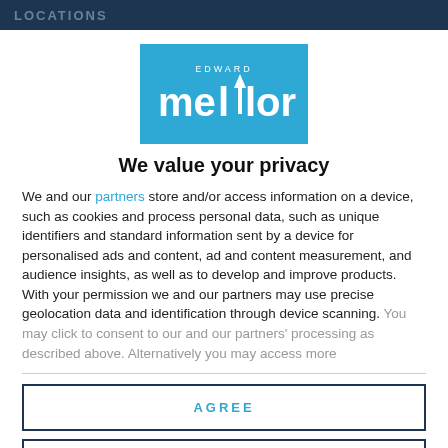LOCATIONS
[Figure (logo): Edward Mellor logo — white text on blue background with upward arrow between ll and or]
We value your privacy
We and our partners store and/or access information on a device, such as cookies and process personal data, such as unique identifiers and standard information sent by a device for personalised ads and content, ad and content measurement, and audience insights, as well as to develop and improve products. With your permission we and our partners may use precise geolocation data and identification through device scanning. You may click to consent to our and our partners' processing as described above. Alternatively you may access more
AGREE
MORE OPTIONS